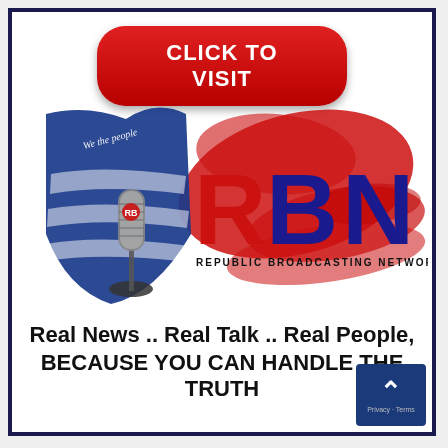[Figure (logo): Republic Broadcasting Network advertisement banner. Red pill-shaped button at top reads CLICK TO VISIT. Below is the RBN logo with a blue We The People flag/shield shape with a vintage microphone, large RBN letters (R in red, BN in navy blue), tagline REPUBLIC BROADCASTING NETWORK. Red brush-stroke background behind letters. Bottom text reads: Real News .. Real Talk .. Real People, BECAUSE YOU CAN HANDLE THE TRUTH.]